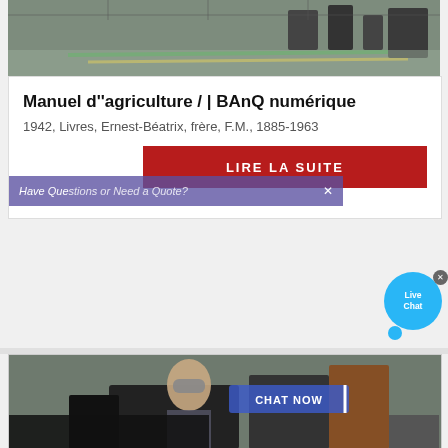[Figure (photo): Top portion of an industrial factory or warehouse interior with green floor markings and metal equipment, partially cropped at top.]
Manuel d"agriculture / | BAnQ numérique
1942, Livres, Ernest-Béatrix, frère, F.M., 1885-1963
[Figure (screenshot): Red button labeled LIRE LA SUITE overlaid with a purple/violet banner that says 'Have Questions or Need a Quote?' with an X close button, and a Live Chat bubble in the top right corner.]
[Figure (photo): Bottom portion showing an industrial worker in goggles in a factory setting with heavy machinery, with a 'CHAT NOW' blue button overlay.]